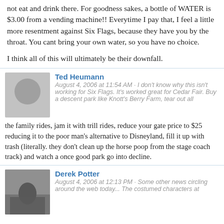not eat and drink there. For goodness sakes, a bottle of WATER is $3.00 from a vending machine!! Everytime I pay that, I feel a little more resentment against Six Flags, because they have you by the throat. You cant bring your own water, so you have no choice.
I think all of this will ultimately be their downfall.
Ted Heumann
August 4, 2006 at 11:54 AM · I don't know why this isn't working for Six Flags. It's worked great for Cedar Fair. Buy a descent park like Knott's Berry Farm, tear out all the family rides, jam it with trill rides, reduce your gate price to $25 reducing it to the poor man's alternative to Disneyland, fill it up with trash (literally. they don't clean up the horse poop from the stage coach track) and watch a once good park go into decline.
Derek Potter
August 4, 2006 at 12:13 PM · Some other news circling around the web today... The costumed characters at